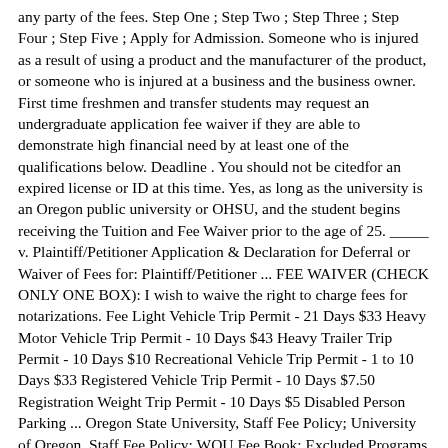any party of the fees. Step One ; Step Two ; Step Three ; Step Four ; Step Five ; Apply for Admission. Someone who is injured as a result of using a product and the manufacturer of the product, or someone who is injured at a business and the business owner. First time freshmen and transfer students may request an undergraduate application fee waiver if they are able to demonstrate high financial need by at least one of the qualifications below. Deadline . You should not be citedfor an expired license or ID at this time. Yes, as long as the university is an Oregon public university or OHSU, and the student begins receiving the Tuition and Fee Waiver prior to the age of 25. _____ v. Plaintiff/Petitioner Application & Declaration for Deferral or Waiver of Fees for: Plaintiff/Petitioner ... FEE WAIVER (CHECK ONLY ONE BOX): I wish to waive the right to charge fees for notarizations. Fee Light Vehicle Trip Permit - 21 Days $33 Heavy Motor Vehicle Trip Permit - 10 Days $43 Heavy Trailer Trip Permit - 10 Days $10 Recreational Vehicle Trip Permit - 1 to 10 Days $33 Registered Vehicle Trip Permit - 10 Days $7.50 Registration Weight Trip Permit - 10 Days $5 Disabled Person Parking ... Oregon State University, Staff Fee Policy; University of Oregon, Staff Fee Policy; WOU Fee Book; Excluded Programs by Campus (Subject to Change) For further questions about excluded programs at WOU, contact Business Services at 503-838-8201 or